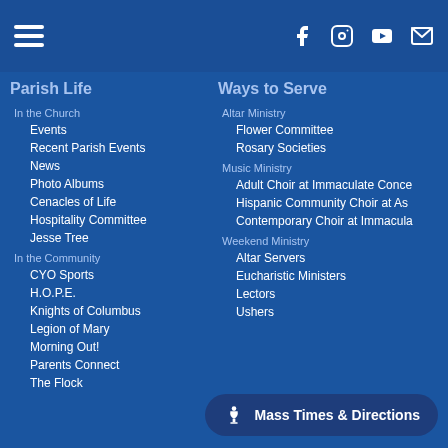[Figure (screenshot): Navigation bar with hamburger menu icon on left and social media icons (Facebook, Instagram, YouTube, Email) on right]
Parish Life
Ways to Serve
In the Church
Events
Recent Parish Events
News
Photo Albums
Cenacles of Life
Hospitality Committee
Jesse Tree
In the Community
CYO Sports
H.O.P.E.
Knights of Columbus
Legion of Mary
Morning Out!
Parents Connect
The Flock
Altar Ministry
Flower Committee
Rosary Societies
Music Ministry
Adult Choir at Immaculate Conce
Hispanic Community Choir at As
Contemporary Choir at Immacula
Weekend Ministry
Altar Servers
Eucharistic Ministers
Lectors
Ushers
Mass Times & Directions